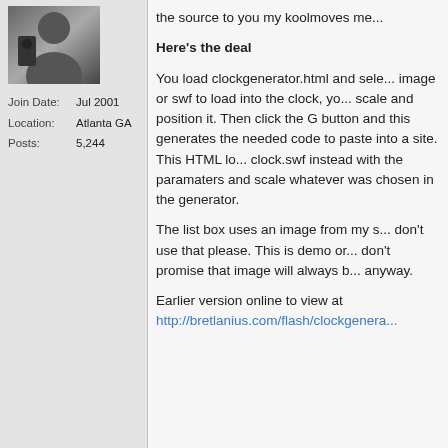[Figure (photo): User avatar photo showing a person, partially cropped]
Join Date: Jul 2001
Location: Atlanta GA
Posts: 5,244
Here's the deal

You load clockgenerator.html and select an image or swf to load into the clock, you scale and position it. Then click the G button and this generates the needed code to paste into a site. This HTML loads clock.swf instead with the paramaters and scale whatever was chosen in the generator.

The list box uses an image from my s... don't use that please. This is demo or... don't promise that image will always b... anyway.

Earlier version online to view at http://bretlanius.com/flash/clockgenera...
[Figure (logo): Facebook icon - black circle with white F]
[Figure (logo): Twitter icon - black circle with white bird]
[Figure (logo): LinkedIn icon - black circle with white in]
Reply W...
Page 16 of 19  First  ...  6  12  13  14  15  16  17  18  19  Last
Quick Navigation  Koolmo...